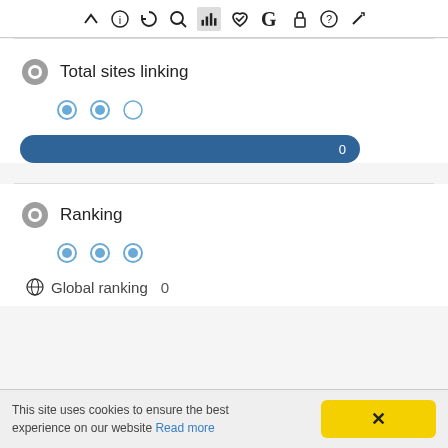[Figure (screenshot): Browser toolbar with icons: chevron/up arrow, info, refresh, search, bar chart (active/highlighted), thumbs up, G (Google), lock, question mark, pencil/edit]
Total sites linking
[Figure (infographic): Progress bar showing value 0, styled in dark blue with rounded ends]
Ranking
Global ranking  0
This site uses cookies to ensure the best experience on our website Read more